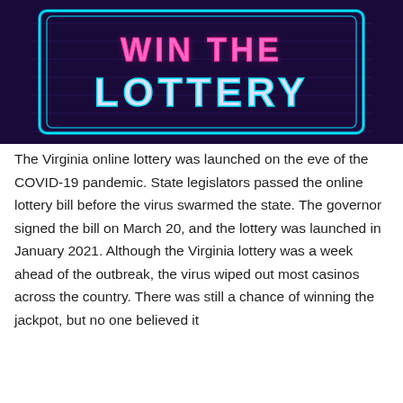[Figure (photo): Neon sign on a dark brick wall background showing 'WIN THE LOTTERY' in bright pink and cyan neon lettering with a cyan neon border rectangle]
The Virginia online lottery was launched on the eve of the COVID-19 pandemic. State legislators passed the online lottery bill before the virus swarmed the state. The governor signed the bill on March 20, and the lottery was launched in January 2021. Although the Virginia lottery was a week ahead of the outbreak, the virus wiped out most casinos across the country. There was still a chance of winning the jackpot, but no one believed it